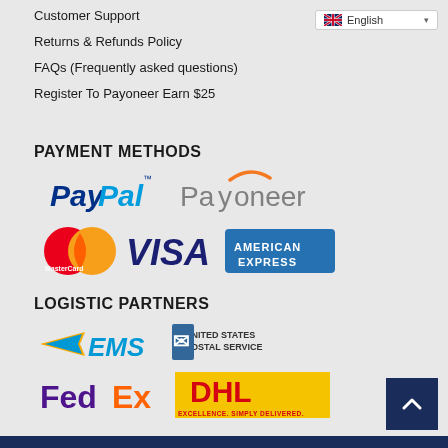Customer Support
Returns & Refunds Policy
FAQs (Frequently asked questions)
Register To Payoneer Earn $25
PAYMENT METHODS
[Figure (logo): PayPal logo]
[Figure (logo): Payoneer logo]
[Figure (logo): MasterCard logo]
[Figure (logo): VISA logo]
[Figure (logo): American Express logo]
LOGISTIC PARTNERS
[Figure (logo): EMS logo]
[Figure (logo): United States Postal Service logo]
[Figure (logo): FedEx logo]
[Figure (logo): DHL Excellence. Simply Delivered. logo]